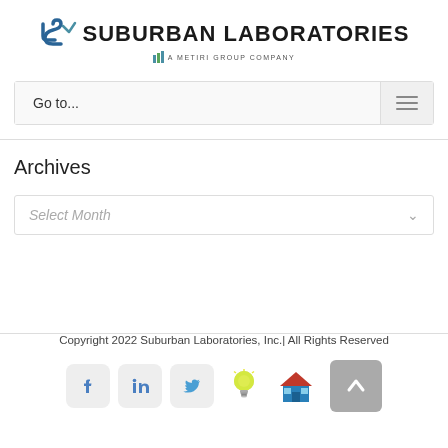[Figure (logo): Suburban Laboratories logo with SL icon and text 'SUBURBAN LABORATORIES - A Metiri Group Company']
Go to...
Archives
Select Month
Copyright 2022 Suburban Laboratories, Inc.| All Rights Reserved